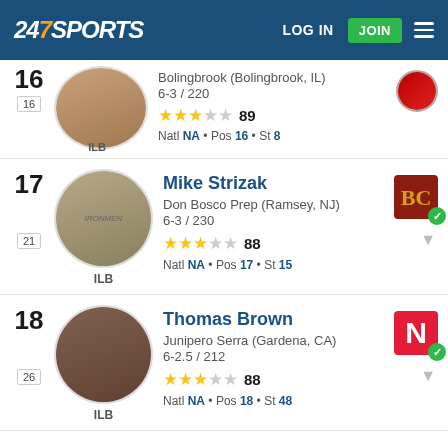247 SPORTS  LOG IN  JOIN
16 | ILB | Bolingbrook (Bolingbrook, IL) | 6-3 / 220 | 89 | Natl NA • Pos 16 • St 8
17 | Mike Strizak | ILB | Don Bosco Prep (Ramsey, NJ) | 6-3 / 230 | 88 | Natl NA • Pos 17 • St 15
18 | Thomas Brown | ILB | Junipero Serra (Gardena, CA) | 6-2.5 / 212 | 88 | Natl NA • Pos 18 • St 48